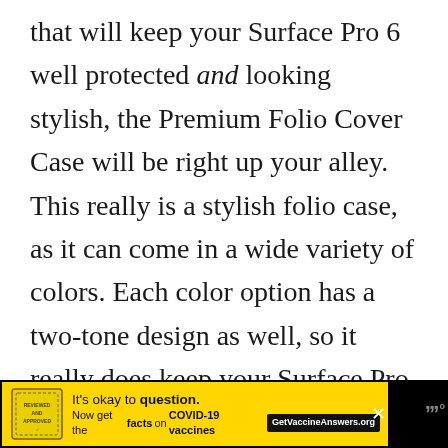that will keep your Surface Pro 6 well protected and looking stylish, the Premium Folio Cover Case will be right up your alley. This really is a stylish folio case, as it can come in a wide variety of colors. Each color option has a two-tone design as well, so it really does keep your Surface Pro 6 looking unique. You can fold it out in a couple of different ways to get the most comfortable viewing angle for your needs. It has a strong elastic s[...]
[Figure (other): Advertisement banner at bottom: yellow background with stamp graphic, text 'It's okay to question. Now get the facts on COVID-19 vaccines GetVaccineAnswers.org', with close button X and logo]